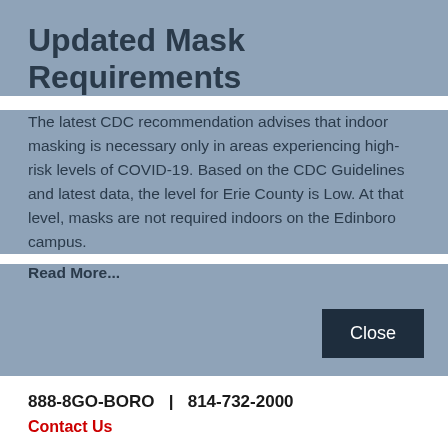Updated Mask Requirements
The latest CDC recommendation advises that indoor masking is necessary only in areas experiencing high-risk levels of COVID-19. Based on the CDC Guidelines and latest data, the level for Erie County is Low. At that level, masks are not required indoors on the Edinboro campus.
Read More...
Close
888-8GO-BORO   |   814-732-2000
Contact Us
[Figure (infographic): Row of five social media icons: Facebook, Instagram, Twitter, YouTube, LinkedIn — each as a white icon on a dark navy circular background]
Fraud/Waste/Abuse   Privacy   Right-To-Know